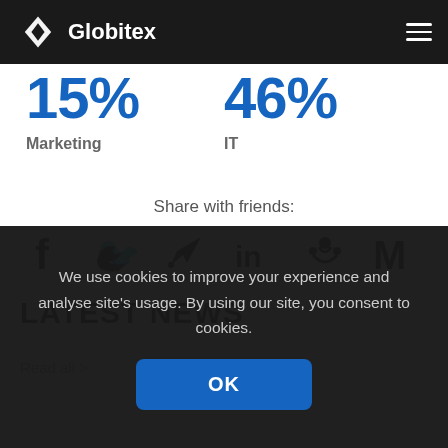Globitex
15%
Marketing
46%
IT
Share with friends:
[Figure (other): Social sharing icons: Facebook, Twitter, Telegram, LinkedIn, Reddit, Medium]
LATEST NEWS
Read all >
We use cookies to improve your experience and analyse site's usage. By using our site, you consent to cookies.
OK